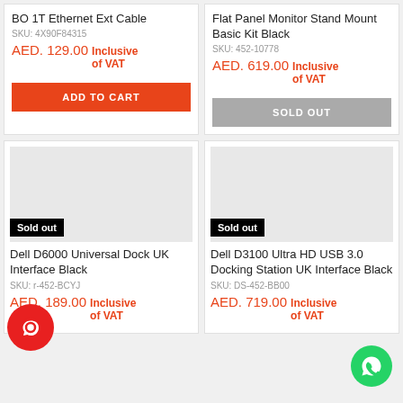BO 1T Ethernet Ext Cable
SKU: 4X90F84315
AED. 129.00  Inclusive of VAT
ADD TO CART
Flat Panel Monitor Stand Mount Basic Kit Black
SKU: 452-10778
AED. 619.00  Inclusive of VAT
SOLD OUT
[Figure (photo): Product image placeholder grey box with Sold out badge]
Dell D6000 Universal Dock UK Interface Black
SKU: r-452-BCYJ
AED. 189.00  Inclusive of VAT
[Figure (photo): Product image placeholder grey box with Sold out badge]
Dell D3100 Ultra HD USB 3.0 Docking Station UK Interface Black
SKU: DS-452-BB00
AED. 719.00  Inclusive of VAT